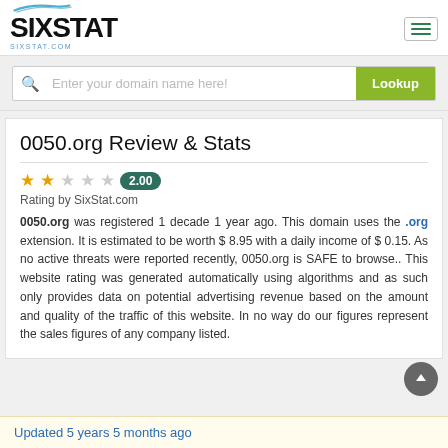SIXSTAT - sixstat.com
Enter your domain name here! Lookup
0050.org Review & Stats
Rating by SixStat.com — 2.00
0050.org was registered 1 decade 1 year ago. This domain uses the .org extension. It is estimated to be worth $ 8.95 with a daily income of $ 0.15. As no active threats were reported recently, 0050.org is SAFE to browse.. This website rating was generated automatically using algorithms and as such only provides data on potential advertising revenue based on the amount and quality of the traffic of this website. In no way do our figures represent the sales figures of any company listed.
Updated 5 years 5 months ago